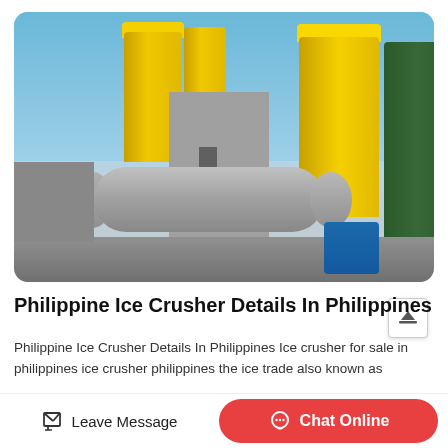[Figure (photo): Industrial plant or concrete batching plant with large yellow silos, a green silo, a horizontal drum/mixer, and blue tanks on a concrete platform under a blue sky.]
Philippine Ice Crusher Details In Philippines
Philippine Ice Crusher Details In Philippines Ice crusher for sale in philippines ice crusher philippines the ice trade also known as
Leave Message
Chat Online